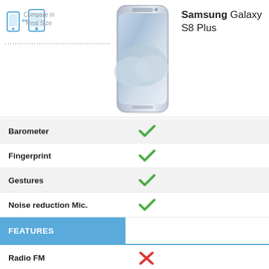[Figure (infographic): Compare in Real Size icon with two phone outlines and arrows]
Compare in Real Size
[Figure (photo): Samsung Galaxy S8 Plus smartphone front view, silver/white color]
Samsung Galaxy S8 Plus
| Feature | Samsung Galaxy S8 Plus |
| --- | --- |
| Barometer | ✓ |
| Fingerprint | ✓ |
| Gestures | ✓ |
| Noise reduction Mic. | ✓ |
| FEATURES |  |
| Radio FM | ✗ |